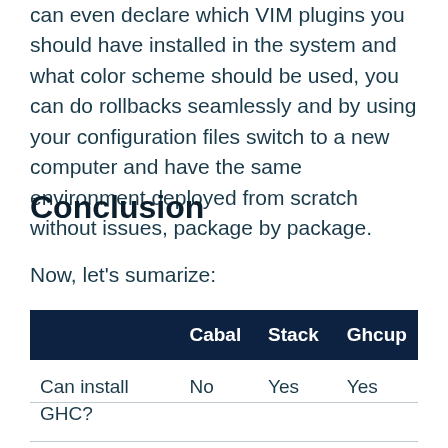can even declare which VIM plugins you should have installed in the system and what color scheme should be used, you can do rollbacks seamlessly and by using your configuration files switch to a new computer and have the same environment deployed from scratch without issues, package by package.
Conclusion
Now, let's sumarize:
|  | Cabal | Stack | Ghcup |
| --- | --- | --- | --- |
| Can install GHC? | No | Yes | Yes |
| Global installed | - | No (by | Yes |